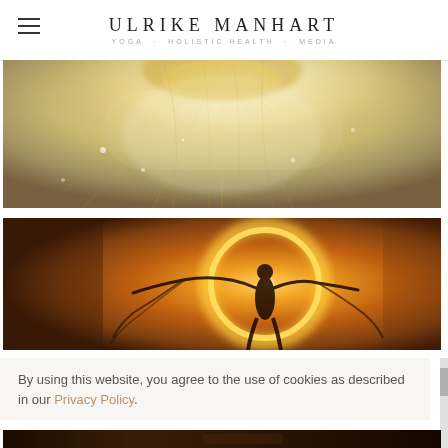ULRIKE MANHART — YOGA · HOLISTIC HEALTH · MEDIA
[Figure (photo): Close-up abstract image of a crystal singing bowl or similar shimmering luminous object, warm golden and white tones with soft luminous glow]
[Figure (photo): Silhouette of a woman dancing with flowing fabric against a radiant golden sun halo background, warm amber and brown tones]
By using this website, you agree to the use of cookies as described in our Privacy Policy.
[Figure (photo): Bottom strip of a dark toned photograph, partial view]